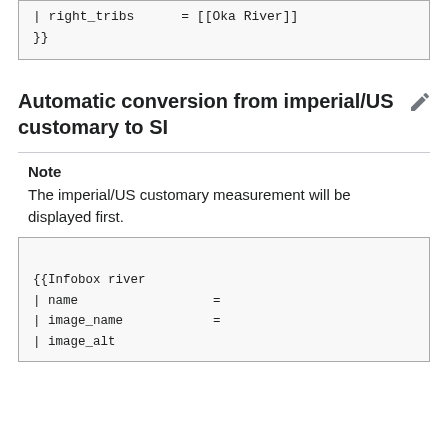| right_tribs     = [[Oka River]]
}}
Automatic conversion from imperial/US customary to SI
Note
The imperial/US customary measurement will be displayed first.
<!-- The following few lines create the "Infobox" table template.
        Please scroll down to edit the main content of the article. -->
{{Infobox river
| name                  =
| image_name            =
| image_alt